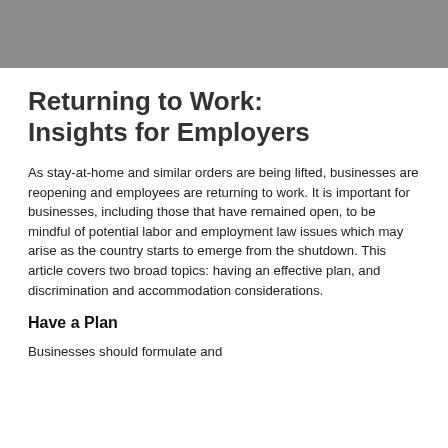Returning to Work: Insights for Employers
As stay-at-home and similar orders are being lifted, businesses are reopening and employees are returning to work. It is important for businesses, including those that have remained open, to be mindful of potential labor and employment law issues which may arise as the country starts to emerge from the shutdown. This article covers two broad topics: having an effective plan, and discrimination and accommodation considerations.
Have a Plan
Businesses should formulate and